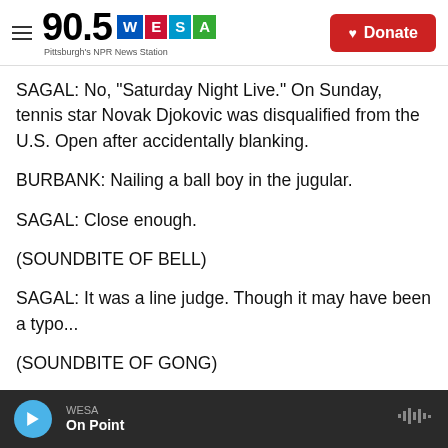90.5 WESA Pittsburgh's NPR News Station | Donate
SAGAL: No, "Saturday Night Live." On Sunday, tennis star Novak Djokovic was disqualified from the U.S. Open after accidentally blanking.
BURBANK: Nailing a ball boy in the jugular.
SAGAL: Close enough.
(SOUNDBITE OF BELL)
SAGAL: It was a line judge. Though it may have been a typo...
(SOUNDBITE OF GONG)
WESA | On Point